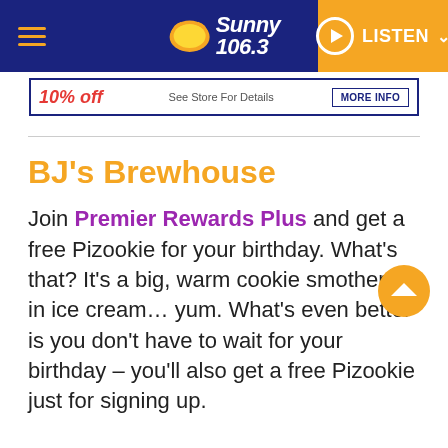Sunny 106.3 | LISTEN
[Figure (screenshot): Banner advertisement showing '10% off', 'See Store For Details', and 'MORE INFO' button with dark blue border]
BJ's Brewhouse
Join Premier Rewards Plus and get a free Pizookie for your birthday. What's that? It's a big, warm cookie smothered in ice cream… yum. What's even better is you don't have to wait for your birthday – you'll also get a free Pizookie just for signing up.